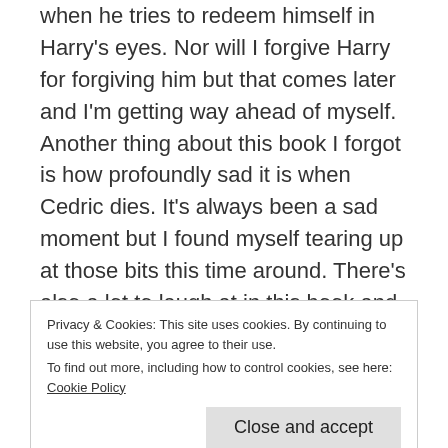when he tries to redeem himself in Harry's eyes. Nor will I forgive Harry for forgiving him but that comes later and I'm getting way ahead of myself. Another thing about this book I forgot is how profoundly sad it is when Cedric dies. It's always been a sad moment but I found myself tearing up at those bits this time around. There's also a lot to laugh at in this book and I like the way Rowling balances the two. Honestly, I can't wait for the Divination classes to be over. I'm just as fed up with Professor Trelawney as Harry is but I find both Ron and Harry's homework full of deathly predications to be quite amusing. The ending of this book, while very sad,
Privacy & Cookies: This site uses cookies. By continuing to use this website, you agree to their use.
To find out more, including how to control cookies, see here: Cookie Policy
Close and accept
I've been pacing myself with these books. If I didn't, I